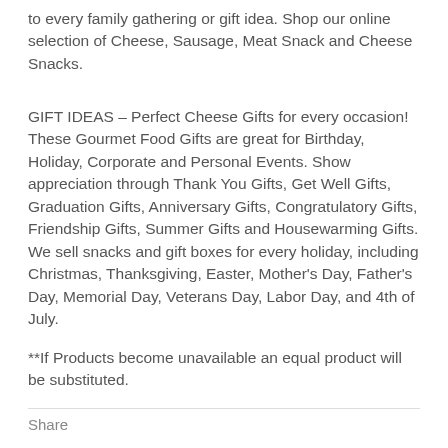to every family gathering or gift idea. Shop our online selection of Cheese, Sausage, Meat Snack and Cheese Snacks.
GIFT IDEAS – Perfect Cheese Gifts for every occasion! These Gourmet Food Gifts are great for Birthday, Holiday, Corporate and Personal Events. Show appreciation through Thank You Gifts, Get Well Gifts, Graduation Gifts, Anniversary Gifts, Congratulatory Gifts, Friendship Gifts, Summer Gifts and Housewarming Gifts. We sell snacks and gift boxes for every holiday, including Christmas, Thanksgiving, Easter, Mother's Day, Father's Day, Memorial Day, Veterans Day, Labor Day, and 4th of July.
**If Products become unavailable an equal product will be substituted.
Share